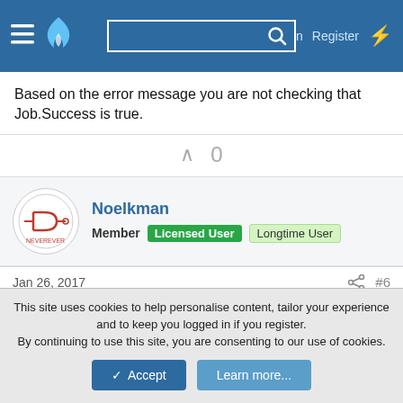Log in  Register
Based on the error message you are not checking that Job.Success is true.
0
Noelkman
Member  Licensed User  Longtime User
Jan 26, 2017  #6
Erel,
you are right. I was not checking success but anyhow why in the world this works with every other file (and I mean with EVERY other file all kind and size) and since I have permitted and
This site uses cookies to help personalise content, tailor your experience and to keep you logged in if you register.
By continuing to use this site, you are consenting to our use of cookies.